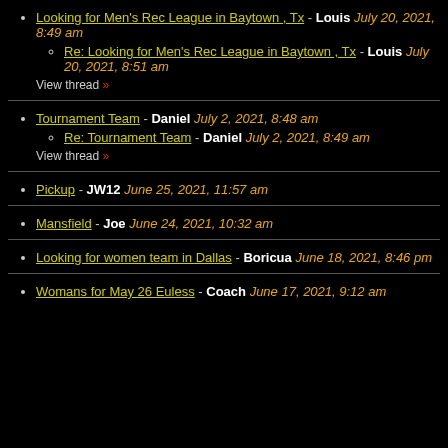Looking for Men's Rec League in Baytown , Tx - Louis July 20, 2021, 8:49 am
  Re: Looking for Men's Rec League in Baytown , Tx - Louis July 20, 2021, 8:51 am
  View thread »
Tournament Team - Daniel July 2, 2021, 8:48 am
  Re: Tournament Team - Daniel July 2, 2021, 8:49 am
  View thread »
Pickup - JW12 June 25, 2021, 11:57 am
Mansfield - Joe June 24, 2021, 10:32 am
Looking for women team in Dallas - Boricua June 18, 2021, 8:46 pm
Womans for May 26 Euless - Coach June 17, 2021, 9:12 am